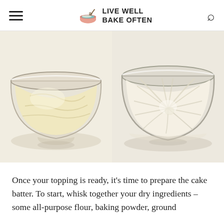LIVE WELL BAKE OFTEN
[Figure (photo): Two side-by-side photos of glass mixing bowls on a white surface. Left bowl contains a creamy pale yellow batter mixture. Right bowl contains a fluffy, swirled white/cream topping mixture.]
Once your topping is ready, it's time to prepare the cake batter. To start, whisk together your dry ingredients – some all-purpose flour, baking powder, ground